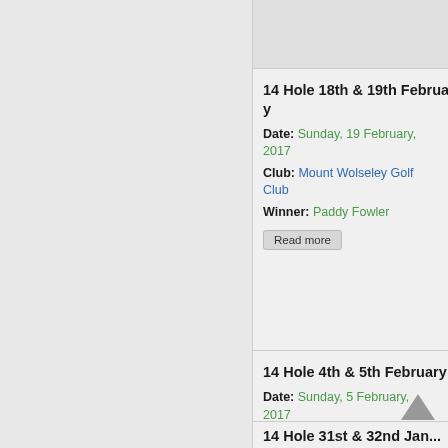14 Hole 18th & 19th February...
Date: Sunday, 19 February, 2017
Club: Mount Wolseley Golf Club
Winner: Paddy Fowler
Read more
14 Hole 4th & 5th February 2...
Date: Sunday, 5 February, 2017
Club: Mount Wolseley Golf Club
Winner: Tony McGuill
Read more
14 Hole 31st & 32nd Jan...